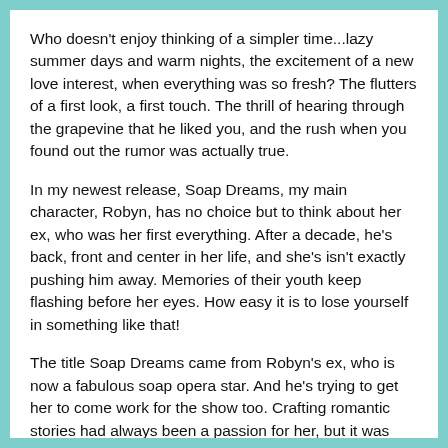Who doesn't enjoy thinking of a simpler time...lazy summer days and warm nights, the excitement of a new love interest, when everything was so fresh? The flutters of a first look, a first touch. The thrill of hearing through the grapevine that he liked you, and the rush when you found out the rumor was actually true.
In my newest release, Soap Dreams, my main character, Robyn, has no choice but to think about her ex, who was her first everything. After a decade, he's back, front and center in her life, and she's isn't exactly pushing him away. Memories of their youth keep flashing before her eyes. How easy it is to lose yourself in something like that!
The title Soap Dreams came from Robyn's ex, who is now a fabulous soap opera star. And he's trying to get her to come work for the show too. Crafting romantic stories had always been a passion for her, but it was pushed aside when her teenage sweetheart crushed her dreams of happily ever after. But now everything is different, and maybe her dreams will actually come true.